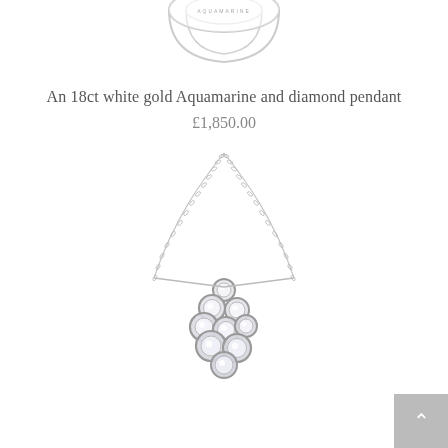[Figure (photo): Top portion of a white gold ring, partially visible at top of page, white background]
An 18ct white gold Aquamarine and diamond pendant
£1,850.00
[Figure (photo): An 18ct white gold Aquamarine and diamond pendant necklace with a chain and cluster of circular diamond-set bezels forming the pendant drop, photographed on white background]